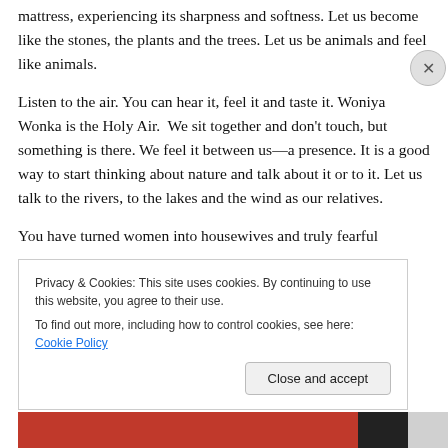mattress, experiencing its sharpness and softness. Let us become like the stones, the plants and the trees. Let us be animals and feel like animals.
Listen to the air. You can hear it, feel it and taste it. Woniya Wonka is the Holy Air. We sit together and don't touch, but something is there. We feel it between us—a presence. It is a good way to start thinking about nature and talk about it or to it. Let us talk to the rivers, to the lakes and the wind as our relatives.
You have turned women into housewives and truly fearful
Privacy & Cookies: This site uses cookies. By continuing to use this website, you agree to their use.
To find out more, including how to control cookies, see here: Cookie Policy